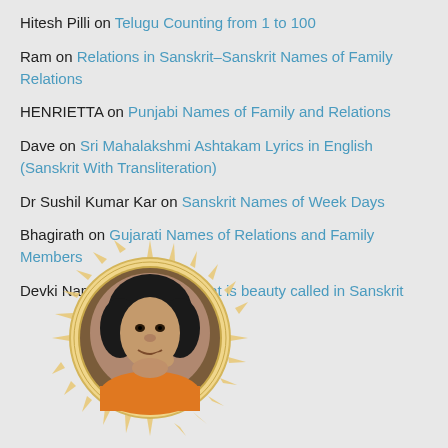Hitesh Pilli on Telugu Counting from 1 to 100
Ram on Relations in Sanskrit–Sanskrit Names of Family Relations
HENRIETTA on Punjabi Names of Family and Relations
Dave on Sri Mahalakshmi Ashtakam Lyrics in English (Sanskrit With Transliteration)
Dr Sushil Kumar Kar on Sanskrit Names of Week Days
Bhagirath on Gujarati Names of Relations and Family Members
Devki Nandan Doriya on What is beauty called in Sanskrit
[Figure (photo): Circular medallion portrait photo of a spiritual figure with afro hair, wearing orange robes, hand near chin, with decorative gold sun-burst border]